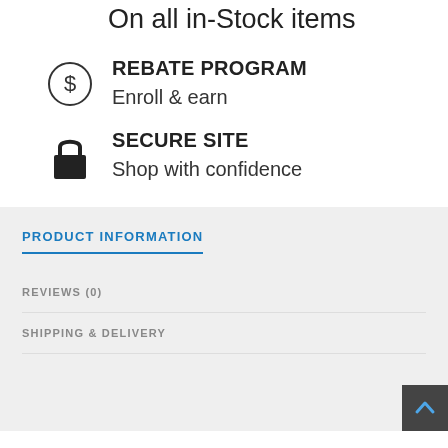On all in-Stock items
REBATE PROGRAM
Enroll & earn
SECURE SITE
Shop with confidence
PRODUCT INFORMATION
REVIEWS (0)
SHIPPING & DELIVERY